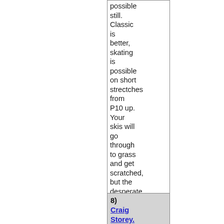possible still. Classic is better, skating is possible on short strectches from P10 up. Your skis will go through to grass and get scratched, but the desperate skier will enjoy it. OLD ROCK skis are a must today.
8) Craig Storey. 2005-12-06